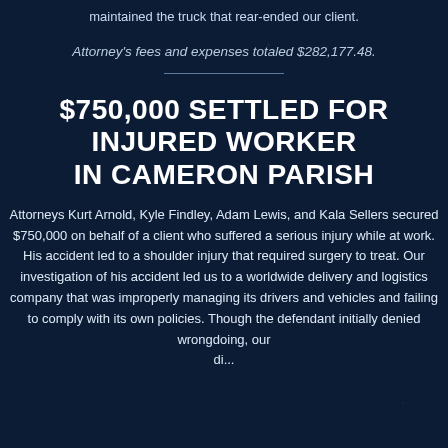maintained the truck that rear-ended our client.
Attorney's fees and expenses totaled $282,177.48.
$750,000 SETTLED FOR INJURED WORKER IN CAMERON PARISH
Attorneys Kurt Arnold, Kyle Findley, Adam Lewis, and Kala Sellers secured $750,000 on behalf of a client who suffered a serious injury while at work. His accident led to a shoulder injury that required surgery to treat. Our investigation of his accident led us to a worldwide delivery and logistics company that was improperly managing its drivers and vehicles and failing to comply with its own policies. Though the defendant initially denied wrongdoing, our